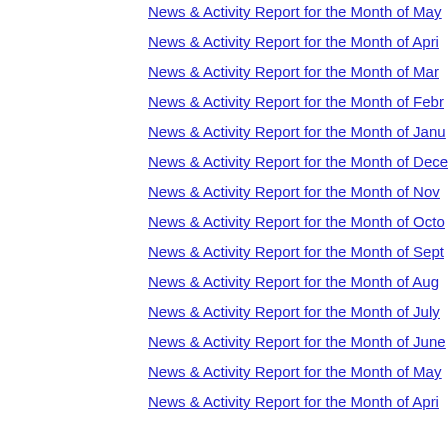News & Activity Report for the Month of May
News & Activity Report for the Month of April
News & Activity Report for the Month of Mar
News & Activity Report for the Month of Febr
News & Activity Report for the Month of Janu
News & Activity Report for the Month of Dece
News & Activity Report for the Month of Nov
News & Activity Report for the Month of Octo
News & Activity Report for the Month of Sept
News & Activity Report for the Month of Aug
News & Activity Report for the Month of July
News & Activity Report for the Month of June
News & Activity Report for the Month of May
News & Activity Report for the Month of Apri